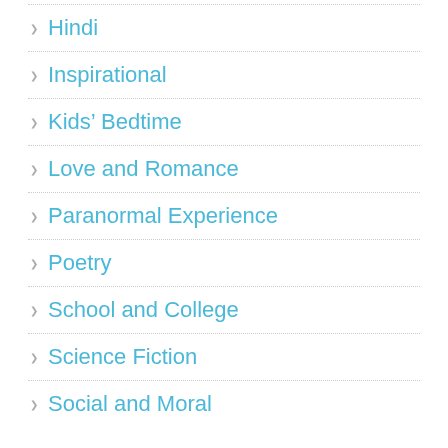Hindi
Inspirational
Kids' Bedtime
Love and Romance
Paranormal Experience
Poetry
School and College
Science Fiction
Social and Moral